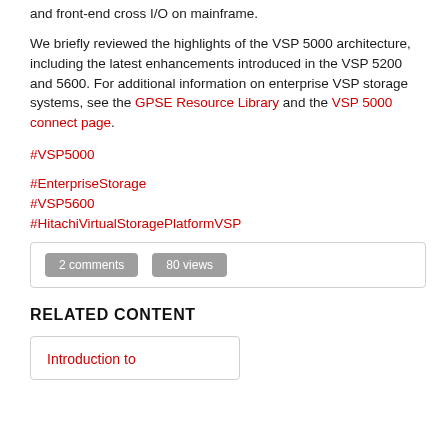and front-end cross I/O on mainframe.
We briefly reviewed the highlights of the VSP 5000 architecture, including the latest enhancements introduced in the VSP 5200 and 5600. For additional information on enterprise VSP storage systems, see the GPSE Resource Library and the VSP 5000 connect page.
#VSP5000
#EnterpriseStorage
#VSP5600
#HitachiVirtualStoragePlatformVSP
2 comments   80 views
RELATED CONTENT
Introduction to